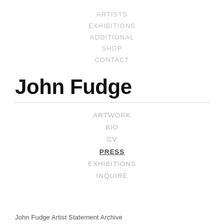ARTISTS
EXHIBITIONS
ADDITIONAL
SHOP
CONTACT
John Fudge
ARTWORK
BIO
CV
PRESS
EXHIBITIONS
INQUIRE
John Fudge Artist Statement Archive